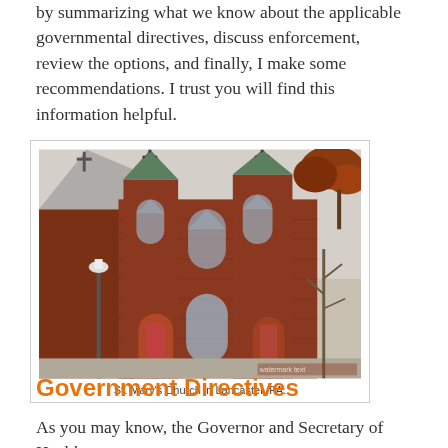by summarizing what we know about the applicable governmental directives, discuss enforcement, review the options, and finally, I make some recommendations. I trust you will find this information helpful.
[Figure (photo): Photograph of St. Mary's Church in Lancaster, PA — a red brick Gothic Revival church with pointed arches, tall spires topped with crosses, arched windows, and a lamppost in front. Taken in autumn with bare trees visible.]
St. Mary's Church in Lancaster, PA.
Government Directives
As you may know, the Governor and Secretary of Health